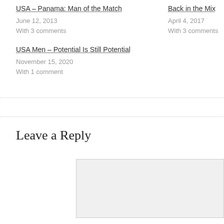USA – Panama: Man of the Match
June 12, 2013
With 3 comments
Back in the Mix
April 4, 2017
With 3 comments
USA Men – Potential Is Still Potential
November 15, 2020
With 1 comment
Leave a Reply